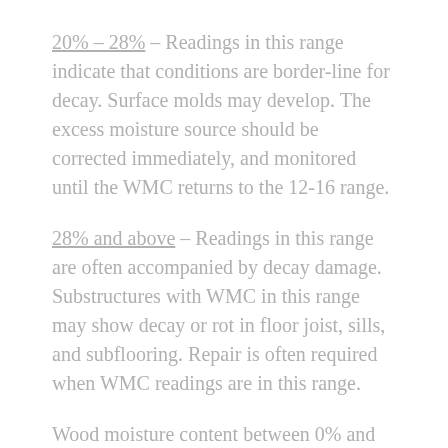20% – 28% – Readings in this range indicate that conditions are border-line for decay. Surface molds may develop. The excess moisture source should be corrected immediately, and monitored until the WMC returns to the 12-16 range.
28% and above – Readings in this range are often accompanied by decay damage. Substructures with WMC in this range may show decay or rot in floor joist, sills, and subflooring. Repair is often required when WMC readings are in this range.
Wood moisture content between 0% and about 28% is dependent upon the relative humidity (RH) of the air. As the air's RH increases, so does the moisture content of any wood exposed to the air.